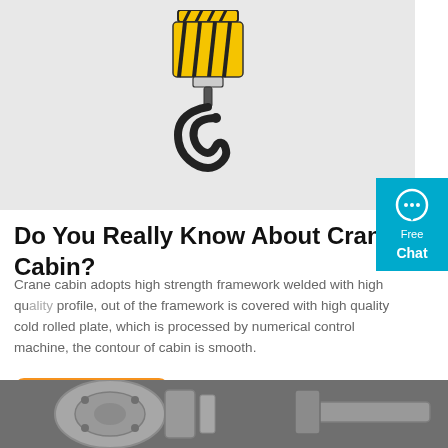[Figure (photo): Crane hook hanging from a yellow-and-black striped pulley/hook block, on a light gray background]
Do You Really Know About Crane Cabin?
Crane cabin adopts high strength framework welded with high quality profile, out of the framework is covered with high quality cold rolled plate, which is processed by numerical control machine, the contour of cabin is smooth.
[Figure (photo): Industrial metal parts including flanges and shafts on a concrete surface]